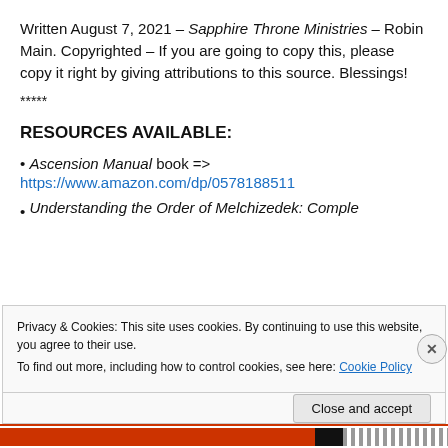Written August 7, 2021 – Sapphire Throne Ministries – Robin Main. Copyrighted – If you are going to copy this, please copy it right by giving attributions to this source. Blessings!
*****
RESOURCES AVAILABLE:
• Ascension Manual book =>
https://www.amazon.com/dp/0578188511
• Understanding the Order of Melchizedek: Complete...
Privacy & Cookies: This site uses cookies. By continuing to use this website, you agree to their use.
To find out more, including how to control cookies, see here: Cookie Policy
Close and accept